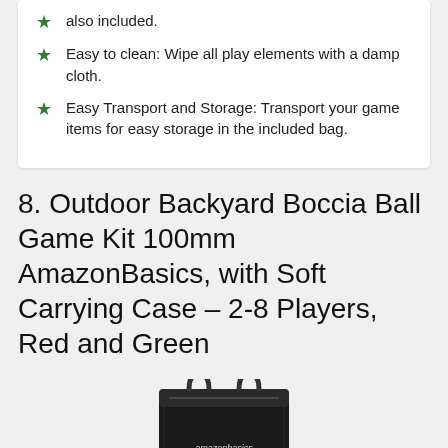also included.
Easy to clean: Wipe all play elements with a damp cloth.
Easy Transport and Storage: Transport your game items for easy storage in the included bag.
8. Outdoor Backyard Boccia Ball Game Kit 100mm AmazonBasics, with Soft Carrying Case – 2-8 Players, Red and Green
[Figure (photo): A black soft carrying case bag with 'amazonbasics' logo, surrounded by red and green bocce balls at the bottom.]